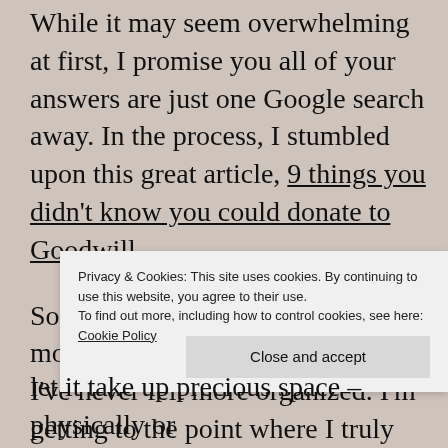While it may seem overwhelming at first, I promise you all of your answers are just one Google search away. In the process, I stumbled upon this great article, 9 things you didn't know you could donate to Goodwill.
So there you have it. After one month I am 496 items lighter, and I've never felt more organized. I'm getting to the point where I truly b... a... i...
Privacy & Cookies: This site uses cookies. By continuing to use this website, you agree to their use. To find out more, including how to control cookies, see here: Cookie Policy
let it take up precious space – physically or